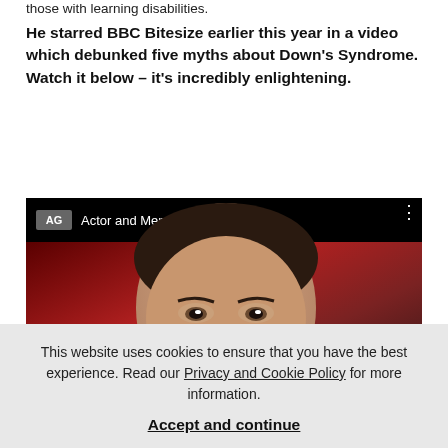those with learning disabilities.
He starred BBC Bitesize earlier this year in a video which debunked five myths about Down's Syndrome. Watch it below – it's incredibly enlightening.
[Figure (screenshot): YouTube video thumbnail showing a young man's face against a red/dark background. Top bar shows a logo 'AG' and title 'Actor and Mencap ambassador, ...' with a three-dot menu. A YouTube play button is visible in the center-bottom of the video.]
This website uses cookies to ensure that you have the best experience. Read our Privacy and Cookie Policy for more information.

Accept and continue